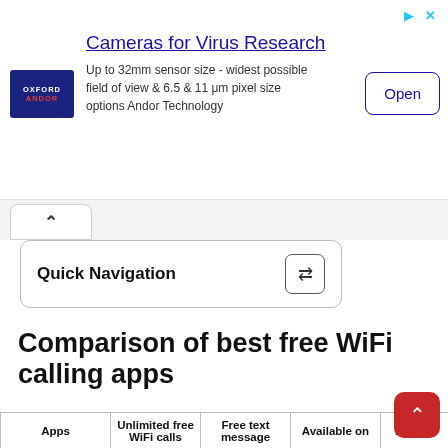[Figure (screenshot): Advertisement banner for Oxford Andor: Cameras for Virus Research. Features Andor logo, ad text about 32mm sensor size and pixel size options, and an Open button. Ad icons (arrow and X) in top right.]
[Figure (screenshot): Browser tab/navigation UI element showing a white tab with an up chevron (^) on a grey background.]
Quick Navigation
Comparison of best free WiFi calling apps
| Apps | Unlimited free WiFi calls | Free text message | Available on | Pricing |
| --- | --- | --- | --- | --- |
| Google Voice | Available | Available | Android, iPhone, iPad, Windows | Free and F... ($3.99/mo |